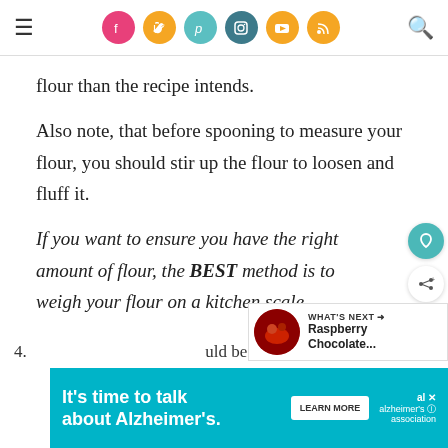Navigation bar with social media icons (Facebook, Twitter, Pinterest, Instagram, YouTube, RSS) and search icon
flour than the recipe intends.
Also note, that before spooning to measure your flour, you should stir up the flour to loosen and fluff it.
If you want to ensure you have the right amount of flour, the BEST method is to weigh your flour on a kitchen scale
[Figure (infographic): What's Next widget showing Raspberry Chocolate... with thumbnail image]
[Figure (infographic): Advertisement banner: It's time to talk about Alzheimer's. with Learn More button and Alzheimer's Association logo]